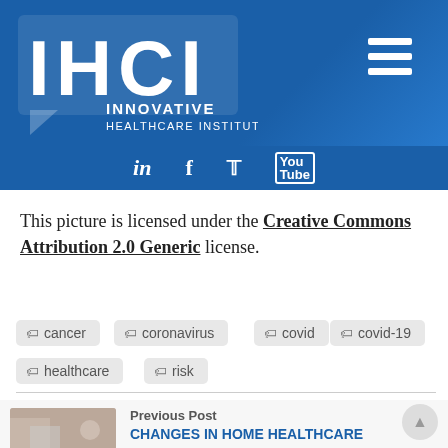[Figure (logo): IHCI Innovative Healthcare Institute logo with blue background and social media icons bar (LinkedIn, Facebook, Twitter, YouTube)]
This picture is licensed under the Creative Commons Attribution 2.0 Generic license.
cancer
coronavirus
covid
covid-19
healthcare
risk
Previous Post
CHANGES IN HOME HEALTHCARE